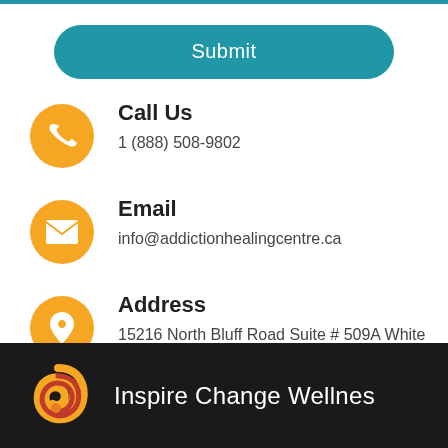Submit
Call Us
1 (888) 508-9802
Email
info@addictionhealingcentre.ca
Address
15216 North Bluff Road Suite # 509A White Rock, BC V4B 0A7
Inspire Change Wellnes